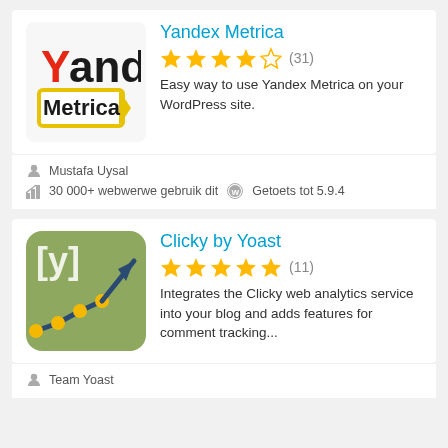[Figure (logo): Yandex Metrica plugin logo with red Y and yellow bordered Metrica text]
Yandex Metrica
★★★★☆ (31)
Easy way to use Yandex Metrica on your WordPress site.
Mustafa Uysal
30 000+ webwerwe gebruik dit   Getoets tot 5.9.4
[Figure (logo): Clicky by Yoast plugin logo: olive/green rounded square with Y letter and line chart with arrow]
Clicky by Yoast
★★★★★ (11)
Integrates the Clicky web analytics service into your blog and adds features for comment tracking...
Team Yoast